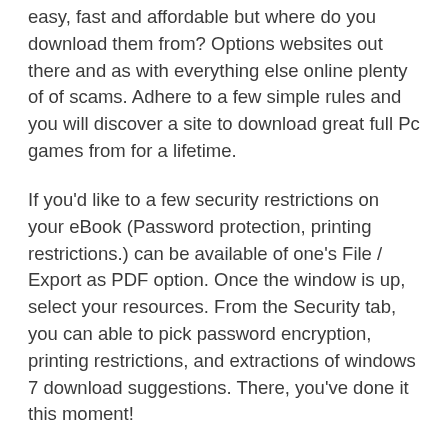easy, fast and affordable but where do you download them from? Options websites out there and as with everything else online plenty of of scams. Adhere to a few simple rules and you will discover a site to download great full Pc games from for a lifetime.
If you'd like to a few security restrictions on your eBook (Password protection, printing restrictions.) can be available of one's File / Export as PDF option. Once the window is up, select your resources. From the Security tab, you can able to pick password encryption, printing restrictions, and extractions of windows 7 download suggestions. There, you've done it this moment!
Once you've finished creating your restore